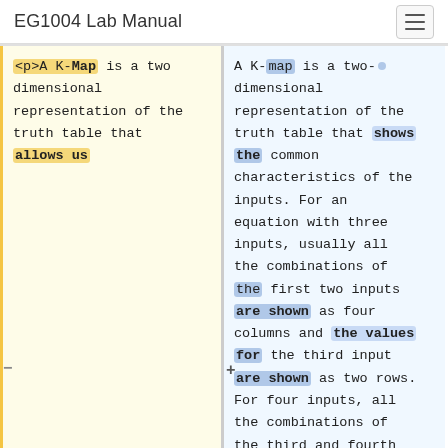EG1004 Lab Manual
<p>A K-Map is a two dimensional representation of the truth table that allows us
A K-map is a two-dimensional representation of the truth table that shows the common characteristics of the inputs. For an equation with three inputs, usually all the combinations of the first two inputs are shown as four columns and the values for the third input are shown as two rows. For four inputs, all the combinations of the third and fourth